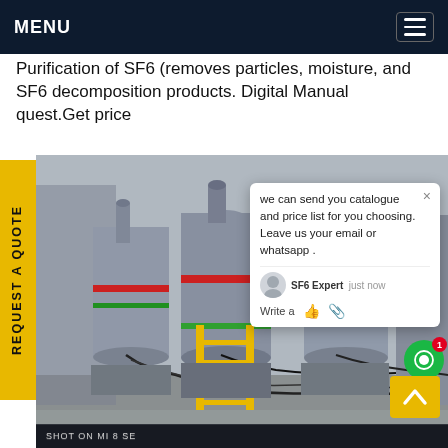MENU
Purification of SF6 (removes particles, moisture, and SF6 decomposition products. Digital Manual quest.Get price
[Figure (photo): Industrial SF6 gas purification equipment installed outdoors with large grey cylindrical components, red and green fittings, yellow ladder, and cable bundles.]
REQUEST A QUOTE
we can send you catalogue and price list for you choosing. Leave us your email or whatsapp .
SF6 Expert   just now
Write a
SHOT ON MI 8 SE